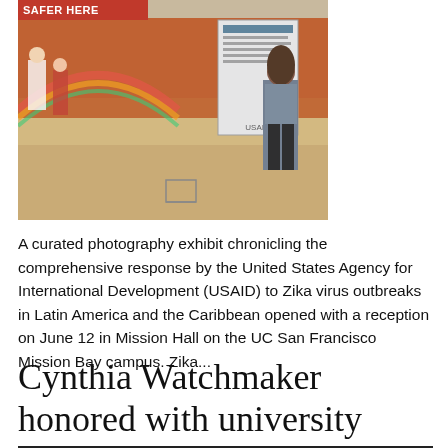[Figure (photo): A USAID photography exhibit photo showing a woman standing near a poster in what appears to be a community hall or gymnasium. A red banner reading 'SAFER HERE' is visible at the top left. People are visible in the background.]
A curated photography exhibit chronicling the comprehensive response by the United States Agency for International Development (USAID) to Zika virus outbreaks in Latin America and the Caribbean opened with a reception on June 12 in Mission Hall on the UC San Francisco Mission Bay campus. Zika...
Cynthia Watchmaker honored with university award